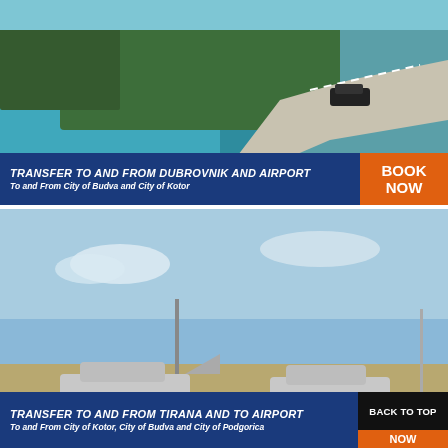[Figure (photo): Aerial coastal road photo with turquoise sea, pine trees, and a car on winding road]
TRANSFER TO AND FROM DUBROVNIK AND AIRPORT
To and From City of Budva and City of Kotor
[Figure (photo): Two silver sedan cars parked on a road with open sky and sparse landscape]
TRANSFER TO AND FROM TIRANA AND TO AIRPORT
To and From City of Kotor, City of Budva and City of Podgorica